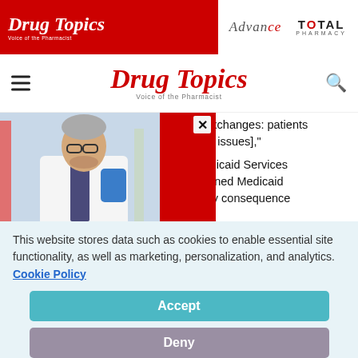Drug Topics | Advance | Total Pharmacy
Drug Topics — Voice of the Pharmacist
well. You think about who is using the exchanges: patients ... mplex [health issues],"
care and Medicaid Services ... individuals joined Medicaid ... s year, a likely consequence
[Figure (photo): Pharmacist in white coat holding a blue tablet, overlaid popup with red border and close X button]
This website stores data such as cookies to enable essential site functionality, as well as marketing, personalization, and analytics. Cookie Policy
Accept
Deny